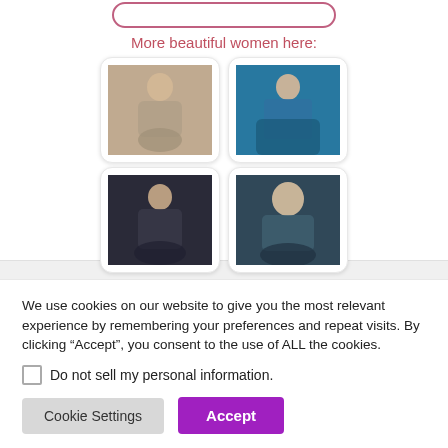[Figure (other): Input box with rounded pink/mauve border at top of page]
More beautiful women here:
[Figure (photo): Photo of young woman with red/auburn hair in grey outfit sitting on floor]
[Figure (photo): Photo of young woman in teal/turquoise jacket sitting on white chair]
[Figure (photo): Photo of young woman with long brown hair raising arms in dark setting]
[Figure (photo): Photo of blonde woman with wavy hair in outdoor/bokeh background]
We use cookies on our website to give you the most relevant experience by remembering your preferences and repeat visits. By clicking “Accept”, you consent to the use of ALL the cookies.
Do not sell my personal information.
Cookie Settings
Accept